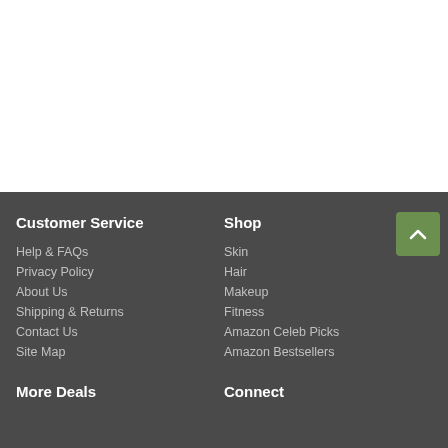Customer Service
Help & FAQs
Privacy Policy
About Us
Shipping & Returns
Contact Us
Site Map
Shop
Skin
Hair
Makeup
Fitness
Amazon Celeb Picks
Amazon Bestsellers
More Deals
Connect